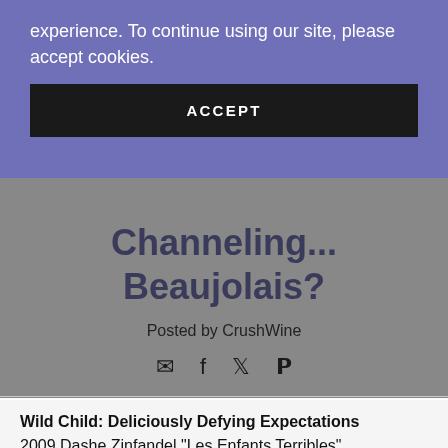experience. To continue using our site, please accept cookies.
ACCEPT
Channeling... Beaujolais?
Posted by CrushWine
[Figure (other): Social sharing icons: email, facebook, twitter, pinterest]
Wild Child: Deliciously Defying Expectations 2009 Dashe Zinfandel "Les Enfants Terribles" McFadden Farm California Zinfandel... Though You'd Never Guess It: